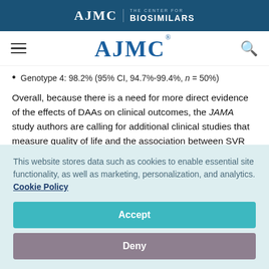AJMC | THE CENTER FOR BIOSIMILARS
AJMC (navigation bar with hamburger menu and search icon)
Genotype 4: 98.2% (95% CI, 94.7%-99.4%, n = 50%)
Overall, because there is a need for more direct evidence of the effects of DAAs on clinical outcomes, the JAMA study authors are calling for additional clinical studies that measure quality of life and the association between SVR and clinical
This website stores data such as cookies to enable essential site functionality, as well as marketing, personalization, and analytics. Cookie Policy
Accept
Deny